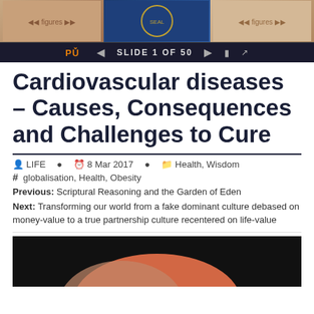[Figure (screenshot): Top banner with three images: human evolution silhouettes on left, a seal/emblem in center, figures on right. Below is a dark navigation bar showing 'SLIDE 1 OF 50' with PowerPoint icons and navigation arrows.]
Cardiovascular diseases – Causes, Consequences and Challenges to Cure
LIFE  8 Mar 2017  Health, Wisdom
# globalisation, Health, Obesity
Previous: Scriptural Reasoning and the Garden of Eden
Next: Transforming our world from a fake dominant culture debased on money-value to a true partnership culture recentered on life-value
[Figure (photo): Dark background image showing what appears to be an orange/coral colored pie or donut chart shape at the bottom of the page.]